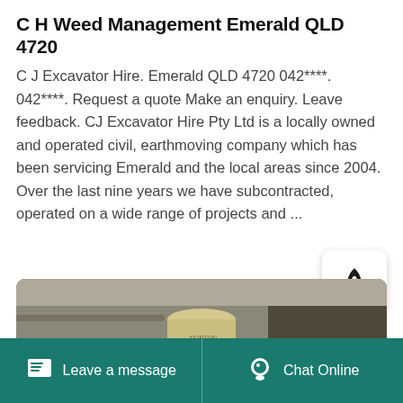C H Weed Management Emerald QLD 4720
C J Excavator Hire. Emerald QLD 4720 042****. 042****. Request a quote Make an enquiry. Leave feedback. CJ Excavator Hire Pty Ltd is a locally owned and operated civil, earthmoving company which has been servicing Emerald and the local areas since 2004. Over the last nine years we have subcontracted, operated on a wide range of projects and ...
[Figure (screenshot): Industrial machinery — a large cylindrical container or hopper mounted on a stand, photographed indoors in a workshop or shed setting]
Leave a message   Chat Online